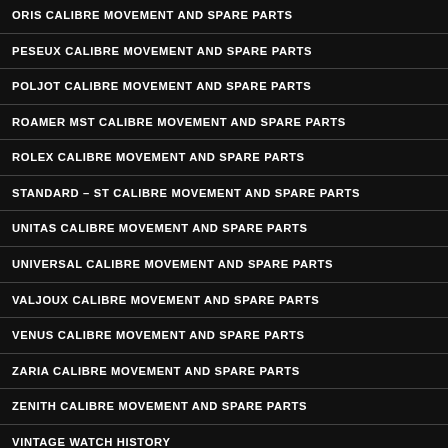ORIS CALIBRE MOVEMENT AND SPARE PARTS
PESEUX CALIBRE MOVEMENT AND SPARE PARTS
POLJOT CALIBRE MOVEMENT AND SPARE PARTS
ROAMER MST CALIBRE MOVEMENT AND SPARE PARTS
ROLEX CALIBRE MOVEMENT AND SPARE PARTS
STANDARD – ST CALIBRE MOVEMENT AND SPARE PARTS
UNITAS CALIBRE MOVEMENT AND SPARE PARTS
UNIVERSAL CALIBRE MOVEMENT AND SPARE PARTS
VALJOUX CALIBRE MOVEMENT AND SPARE PARTS
VENUS CALIBRE MOVEMENT AND SPARE PARTS
ZARIA CALIBRE MOVEMENT AND SPARE PARTS
ZENITH CALIBRE MOVEMENT AND SPARE PARTS
VINTAGE WATCH HISTORY